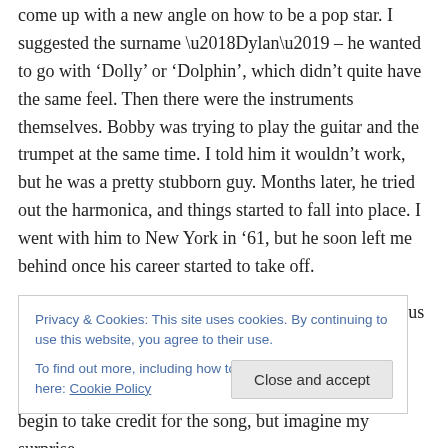come up with a new angle on how to be a pop star. I suggested the surname ‘Dylan’ – he wanted to go with ‘Dolly’ or ‘Dolphin’, which didn’t quite have the same feel. Then there were the instruments themselves. Bobby was trying to play the guitar and the trumpet at the same time. I told him it wouldn’t work, but he was a pretty stubborn guy. Months later, he tried out the harmonica, and things started to fall into place. I went with him to New York in ’61, but he soon left me behind once his career started to take off.
There was one night just before we separated, both of us
Privacy & Cookies: This site uses cookies. By continuing to use this website, you agree to their use. To find out more, including how to control cookies, see here: Cookie Policy
begin to take credit for the song, but imagine my surprise